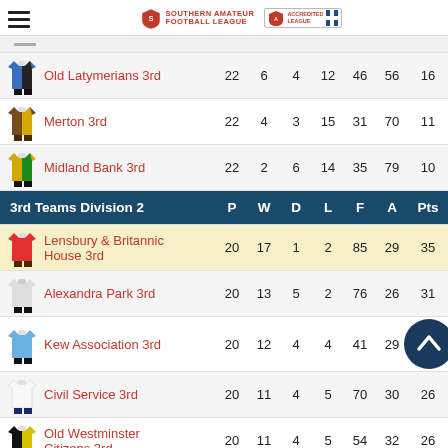Southern Amateur Football League
| Kit | Team | P | W | D | L | F | A | Pts |
| --- | --- | --- | --- | --- | --- | --- | --- | --- |
|  | Old Latymerians 3rd | 22 | 6 | 4 | 12 | 46 | 56 | 16 |
|  | Merton 3rd | 22 | 4 | 3 | 15 | 31 | 70 | 11 |
|  | Midland Bank 3rd | 22 | 2 | 6 | 14 | 35 | 79 | 10 |
3rd Teams Division 2  P  W  D  L  F  A  Pts
| Kit | Team | P | W | D | L | F | A | Pts |
| --- | --- | --- | --- | --- | --- | --- | --- | --- |
|  | Lensbury & Britannic House 3rd | 20 | 17 | 1 | 2 | 85 | 29 | 35 |
|  | Alexandra Park 3rd | 20 | 13 | 5 | 2 | 76 | 26 | 31 |
|  | Kew Association 3rd | 20 | 12 | 4 | 4 | 41 | 29 |  |
|  | Civil Service 3rd | 20 | 11 | 4 | 5 | 70 | 30 | 26 |
|  | Old Westminster Citizens 3rd | 20 | 11 | 4 | 5 | 54 | 32 | 26 |